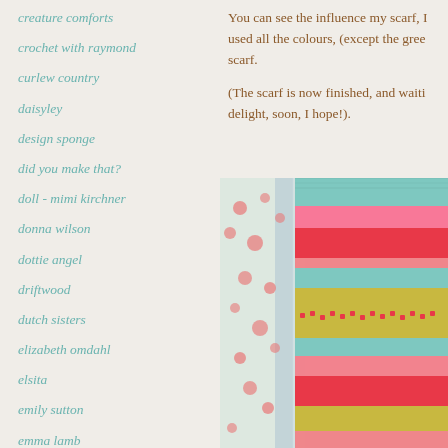creature comforts
crochet with raymond
curlew country
daisyley
design sponge
did you make that?
doll - mimi kirchner
donna wilson
dottie angel
driftwood
dutch sisters
elizabeth omdahl
elsita
emily sutton
emma lamb
You can see the influence my scarf, used all the colours, (except the gree scarf.
(The scarf is now finished, and waiti delight, soon, I hope!).
[Figure (photo): Close-up photo of a colorful knitted scarf with stripes in pink, red, teal, green/yellow, laid on a floral fabric background]